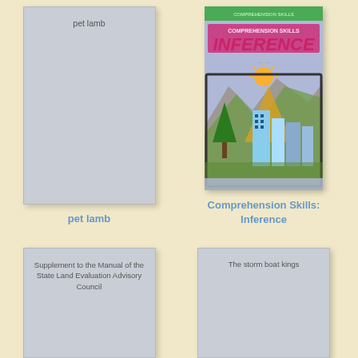[Figure (illustration): Book card placeholder with text 'pet lamb', light gray background with border]
[Figure (illustration): Book cover for 'Comprehension Skills: Inference' showing colorful illustration of city buildings, trees, and sun with green top band]
pet lamb
Comprehension Skills: Inference
[Figure (illustration): Book card placeholder with text 'Supplement to the Manual of the State Land Evaluation Advisory Council', light gray background with border]
[Figure (illustration): Book card placeholder with text 'The storm boat kings', light gray background with border]